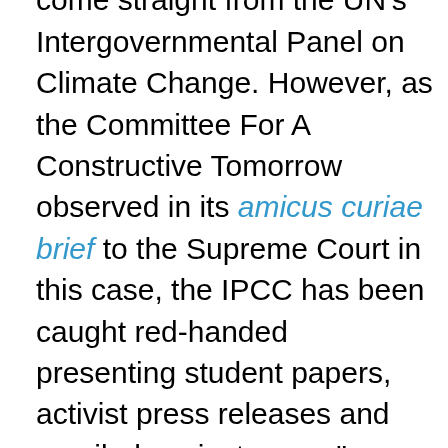climate reports it relies on come straight from the UN's Intergovernmental Panel on Climate Change. However, as the Committee For A Constructive Tomorrow observed in its amicus curiae brief to the Supreme Court in this case, the IPCC has been caught red-handed presenting student papers, activist press releases and emailed conjecture as "peer-reviewed expert reports." It has been caught deleting graphs that clearly show its computer models were worthless, and employing junk models like the one that generated Michael Mann's infamous "hockey stick" to support